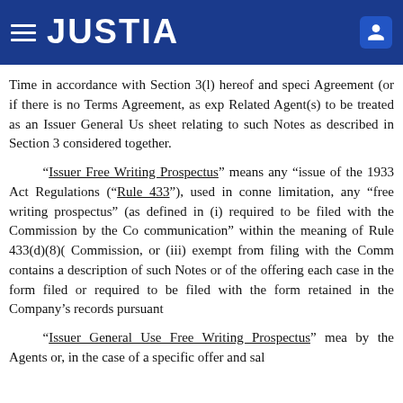JUSTIA
Time in accordance with Section 3(l) hereof and speci… Agreement (or if there is no Terms Agreement, as exp… Related Agent(s) to be treated as an Issuer General Us… sheet relating to such Notes as described in Section 3… considered together.
“Issuer Free Writing Prospectus” means any “issue… of the 1933 Act Regulations (“Rule 433”), used in conne… limitation, any “free writing prospectus” (as defined in… (i) required to be filed with the Commission by the Co… communication” within the meaning of Rule 433(d)(8)(… Commission, or (iii) exempt from filing with the Comm… contains a description of such Notes or of the offering… each case in the form filed or required to be filed with… the form retained in the Company’s records pursuant…
“Issuer General Use Free Writing Prospectus” mea… by the Agents or, in the case of a specific offer and sal…